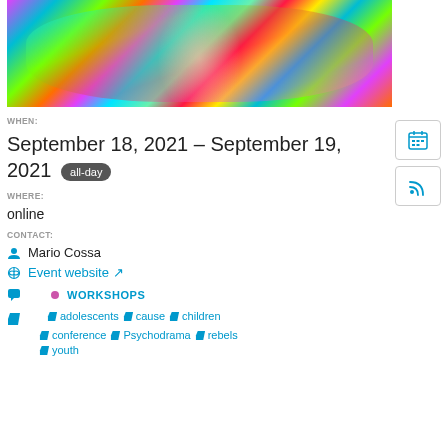[Figure (photo): Person with colorful face and body paint, close-up portrait]
WHEN:
September 18, 2021 – September 19, 2021  all-day
WHERE:
online
CONTACT:
Mario Cossa
Event website
WORKSHOPS
adolescents
cause
children
conference
Psychodrama
rebels
youth